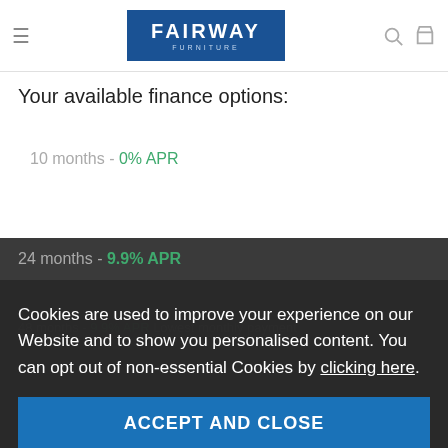Fairway Furniture
Your available finance options:
10 months - 0% APR
24 months - 9.9% APR
48 months - 9.9% APR Lowest monthly payment
Cookies are used to improve your experience on our Website and to show you personalised content. You can opt out of non-essential Cookies by clicking here.
ACCEPT AND CLOSE
Representative example: If total purchase price is £1,399.00 with a deposit of £139.90 (10%) and your selected term is